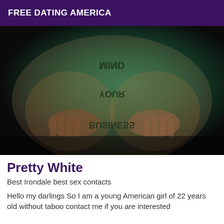FREE DATING AMERICA
[Figure (photo): Close-up photo with green lighting showing tattoos, viewed upside down. Tattoo text visible includes 'MIND', 'YOUR', and 'BUSINESS' in dark lettering.]
Pretty White
Best Irondale best sex contacts
Hello my darlings So I am a young American girl of 22 years old without taboo contact me if you are interested